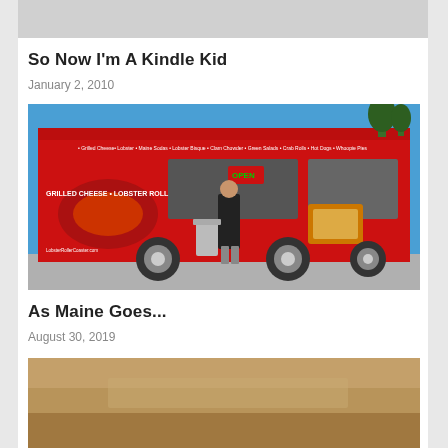[Figure (other): Gray placeholder image bar at top of page]
So Now I'm A Kindle Kid
January 2, 2010
[Figure (photo): A red food truck with images of lobster rolls and grilled cheese sandwiches on the side. A woman in a black shirt stands in front of the truck. The truck shows an OPEN sign and menu items listed along the top.]
As Maine Goes...
August 30, 2019
[Figure (photo): Partial view of another image at the bottom of the page, showing a warm brown/tan color]